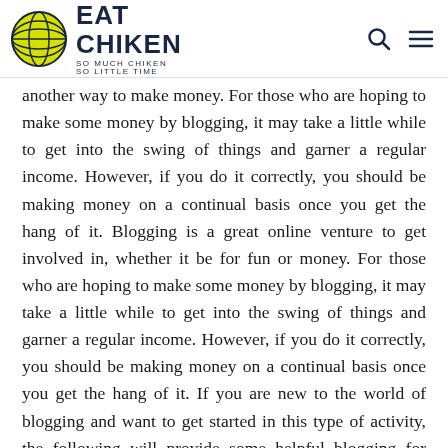EAT CHIKEN — SO MUCH CHIKEN SO LITTLE TIME
another way to make money. For those who are hoping to make some money by blogging, it may take a little while to get into the swing of things and garner a regular income. However, if you do it correctly, you should be making money on a continual basis once you get the hang of it. Blogging is a great online venture to get involved in, whether it be for fun or money. For those who are hoping to make some money by blogging, it may take a little while to get into the swing of things and garner a regular income. However, if you do it correctly, you should be making money on a continual basis once you get the hang of it. If you are new to the world of blogging and want to get started in this type of activity, the following will provide some helpful blogging for money tips for beginner bloggers to consider.
If you think that blogging is just one of the many